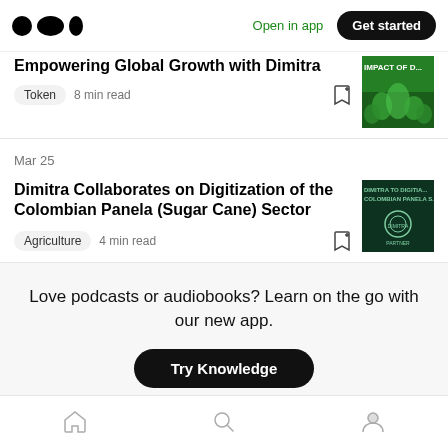Open in app | Get started
Empowering Global Growth with Dimitra
Token · 8 min read
Mar 25
Dimitra Collaborates on Digitization of the Colombian Panela (Sugar Cane) Sector
Agriculture · 4 min read
Love podcasts or audiobooks? Learn on the go with our new app.
Home | Search | Profile